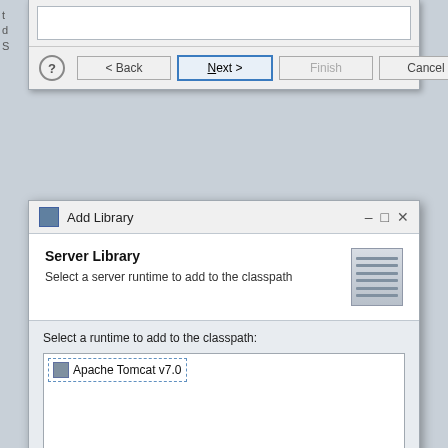[Figure (screenshot): Top fragment of a wizard dialog showing an input area and navigation buttons: Back, Next (active/highlighted), Finish, Cancel]
[Figure (screenshot): Add Library dialog window showing 'Server Library' section. Text: 'Select a server runtime to add to the classpath'. Body shows listbox with 'Apache Tomcat v7.0' listed.]